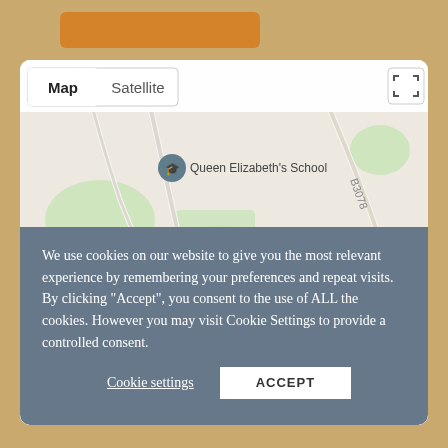[Figure (map): Google Map showing Wimborne Minster area with markers for Victoria Hospital (Wimborne) MIU, Queen Elizabeth's School, The Tivoli Theatre, Wimborne Model, and Wimborne Minster. Map and Satellite toggle tabs visible at top left. Fullscreen icon at top right. Red location pin in center. Road B3078 labeled. KNOBCROOK area labeled.]
We use cookies on our website to give you the most relevant experience by remembering your preferences and repeat visits. By clicking “Accept”, you consent to the use of ALL the cookies. However you may visit Cookie Settings to provide a controlled consent.
Cookie settings
ACCEPT